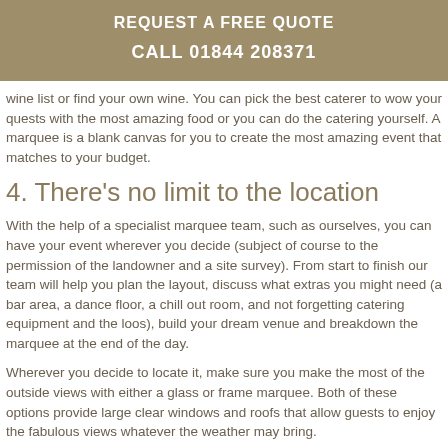REQUEST A FREE QUOTE
CALL 01844 208371
wine list or find your own wine. You can pick the best caterer to wow your quests with the most amazing food or you can do the catering yourself. A marquee is a blank canvas for you to create the most amazing event that matches to your budget.
4. There’s no limit to the location
With the help of a specialist marquee team, such as ourselves, you can have your event wherever you decide (subject of course to the permission of the landowner and a site survey). From start to finish our team will help you plan the layout, discuss what extras you might need (a bar area, a dance floor, a chill out room, and not forgetting catering equipment and the loos), build your dream venue and breakdown the marquee at the end of the day.
Wherever you decide to locate it, make sure you make the most of the outside views with either a glass or frame marquee. Both of these options provide large clear windows and roofs that allow guests to enjoy the fabulous views whatever the weather may bring.